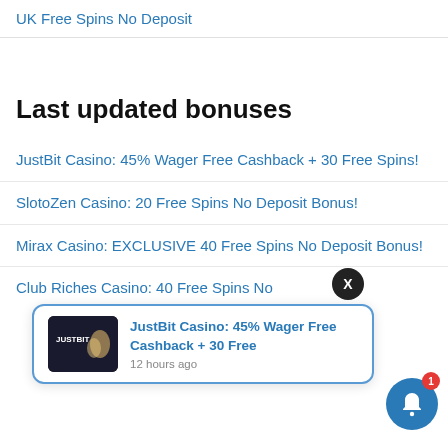UK Free Spins No Deposit
Last updated bonuses
JustBit Casino: 45% Wager Free Cashback + 30 Free Spins!
SlotoZen Casino: 20 Free Spins No Deposit Bonus!
Mirax Casino: EXCLUSIVE 40 Free Spins No Deposit Bonus!
Club Riches Casino: 40 Free Spins No
[Figure (screenshot): Notification popup overlay showing JustBit Casino: 45% Wager Free Cashback + 30 Free, posted 12 hours ago, with casino logo image on left. An X close button appears above the popup. A blue bell notification button with red badge showing 1 is in the bottom right corner.]